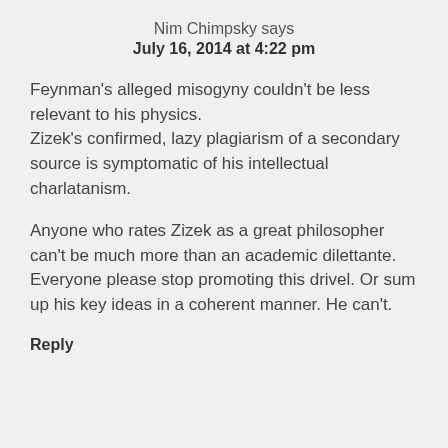Nim Chimpsky says
July 16, 2014 at 4:22 pm
Feynman's alleged misogyny couldn't be less relevant to his physics.
Zizek's confirmed, lazy plagiarism of a secondary source is symptomatic of his intellectual charlatanism.
Anyone who rates Zizek as a great philosopher can't be much more than an academic dilettante. Everyone please stop promoting this drivel. Or sum up his key ideas in a coherent manner. He can't.
Reply